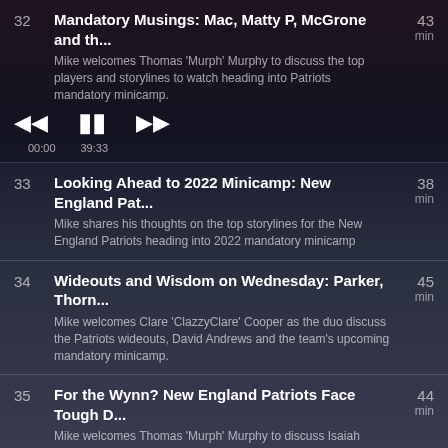32 | Mandatory Musings: Mac, Matty P, McGrone and th... | 43 min | Mike welcomes Thomas 'Murph' Murphy to discuss the top players and storylines to watch heading into Patriots mandatory minicamp. | 00:00 - 39:33
33 | Looking Ahead to 2022 Minicamp: New England Pat... | 38 min | Mike shares his thoughts on the top storylines for the New England Patriots heading into 2022 mandatory minicamp
34 | Wideouts and Wisdom on Wednesday: Parker, Thorn... | 45 min | Mike welcomes Clare 'ClazzyClare' Cooper as the duo discuss the Patriots wideouts, David Andrews and the team's upcoming mandatory minicamp.
35 | For the Wynn? New England Patriots Face Tough D... | 44 min | Mike welcomes Thomas 'Murph' Murphy to discuss Isaiah Wynn, Rookie linemen and the Patriots offensive line.
36 | New England Patriots OTA...